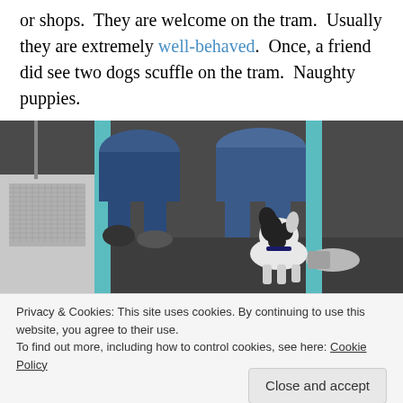or shops.  They are welcome on the tram.  Usually they are extremely well-behaved.  Once, a friend did see two dogs scuffle on the tram.  Naughty puppies.
[Figure (photo): A dog standing on the floor of a tram/transit vehicle, with passengers seated and luggage visible, tram interior with teal/turquoise poles.]
Privacy & Cookies: This site uses cookies. By continuing to use this website, you agree to their use.
To find out more, including how to control cookies, see here: Cookie Policy
[Figure (photo): Bottom portion of outdoor photo showing sky and trees, partially visible.]